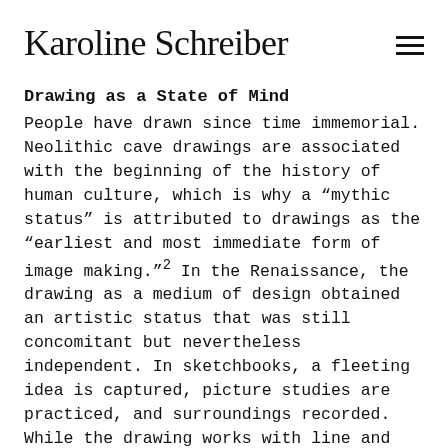Karoline Schreiber
Drawing as a State of Mind
People have drawn since time immemorial. Neolithic cave drawings are associated with the beginning of the history of human culture, which is why a “mythic status” is attributed to drawings as the “earliest and most immediate form of image making.”2 In the Renaissance, the drawing as a medium of design obtained an artistic status that was still concomitant but nevertheless independent. In sketchbooks, a fleeting idea is captured, picture studies are practiced, and surroundings recorded. While the drawing works with line and stroke, painting develops its motif from the surface. In modernism, precisely this dichotomy was largely dissolved, color finally found its way into drawings, and the line